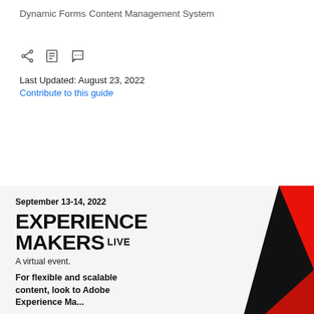Dynamic Forms
Content Management System
[Figure (infographic): Three small icons: a share icon (less-than arrow), an edit/pencil icon, and a speech bubble with dots.]
Last Updated: August 23, 2022
Contribute to this guide
[Figure (infographic): Adobe Experience Makers Live promotional banner. Date: September 13-14, 2022. Title: EXPERIENCE MAKERS LIVE. Subtitle: A virtual event. Body: For flexible and scalable content, look to Adobe Experience Ma... Red and black geometric graphic on the right side.]